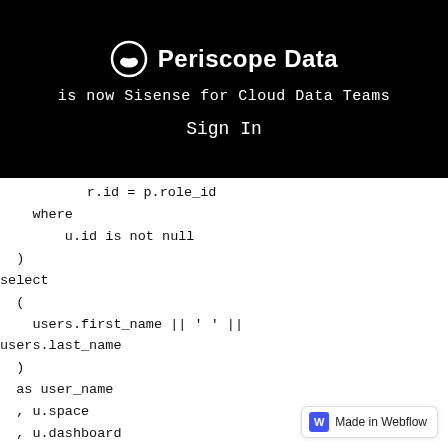Periscope Data is now Sisense for Cloud Data Teams Sign In
r.id = p.role_id
    where
        u.id is not null
  )
select
  (
    users.first_name || ' ' ||
users.last_name
  )
  as user_name
  , u.space
  , u.dashboard
from
  user_id u
  left join users on
    u.user_id = users.id